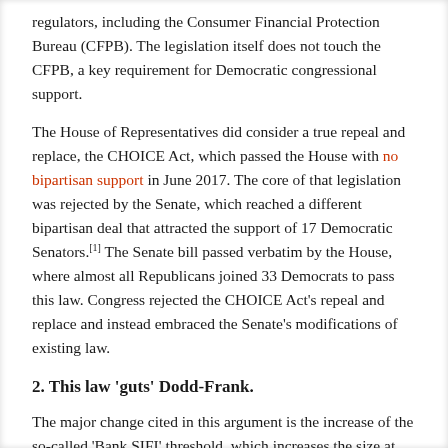regulators, including the Consumer Financial Protection Bureau (CFPB). The legislation itself does not touch the CFPB, a key requirement for Democratic congressional support.
The House of Representatives did consider a true repeal and replace, the CHOICE Act, which passed the House with no bipartisan support in June 2017. The core of that legislation was rejected by the Senate, which reached a different bipartisan deal that attracted the support of 17 Democratic Senators.[1] The Senate bill passed verbatim by the House, where almost all Republicans joined 33 Democrats to pass this law. Congress rejected the CHOICE Act's repeal and replace and instead embraced the Senate's modifications of existing law.
2. This law 'guts' Dodd-Frank.
The major change cited in this argument is the increase of the so-called 'Bank SIFI' threshold, which increases the size at which a bank is subject to enhanced regulation by the Federal Reserve. Dodd-Frank set this line at $50 billion, unindexed for inflation or economic growth. The law raises this figure to